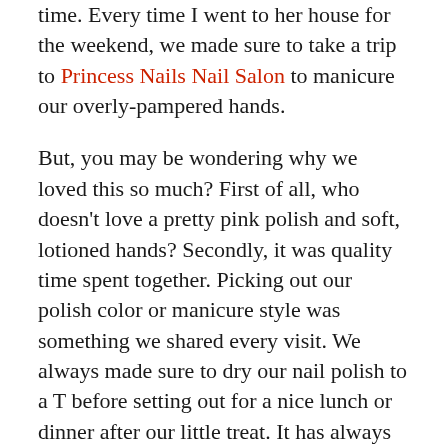time. Every time I went to her house for the weekend, we made sure to take a trip to Princess Nails Nail Salon to manicure our overly-pampered hands.
But, you may be wondering why we loved this so much? First of all, who doesn't love a pretty pink polish and soft, lotioned hands? Secondly, it was quality time spent together. Picking out our polish color or manicure style was something we shared every visit. We always made sure to dry our nail polish to a T before setting out for a nice lunch or dinner after our little treat. It has always been something of familiarity that I was able to share with my grandmother that is still so precious to me.
Now, my grandmother lives all the way across the country and she somehow always makes